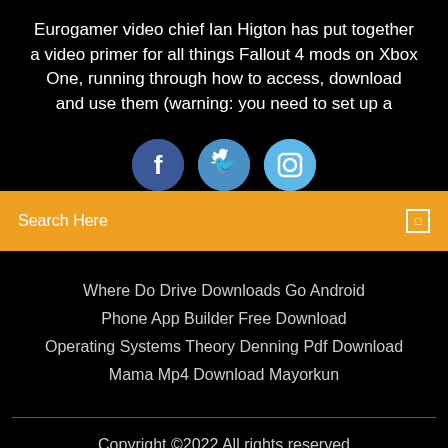Eurogamer video chief Ian Higton has put together a video primer for all things Fallout 4 mods on Xbox One, running through how to access, download and use them (warning: you need to set up a
[Figure (illustration): Three social media icon buttons: Facebook (dark blue circle with 'f'), Twitter (medium blue circle with bird icon), Instagram (light blue circle with camera icon)]
Search Here
Where Do Drive Downloads Go Android
Phone App Builder Free Download
Operating Systems Theory Denning Pdf Download
Mama Mp4 Download Mayorkun
Copyright ©2022 All rights reserved